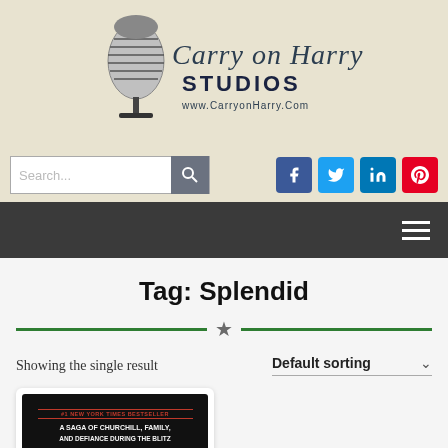[Figure (logo): Carry on Harry Studios logo with vintage microphone illustration and cursive/bold text, website www.CarryonHarry.Com]
[Figure (screenshot): Search bar with magnifying glass icon, and social media icons for Facebook, Twitter, LinkedIn, Pinterest]
[Figure (screenshot): Dark navigation bar with hamburger menu icon]
Tag: Splendid
[Figure (infographic): Decorative green divider lines with a star icon in the center]
Showing the single result
Default sorting
[Figure (photo): Book cover showing '#1 New York Times Bestseller - A Saga of Churchill, Family, and Defiance During the Blitz']